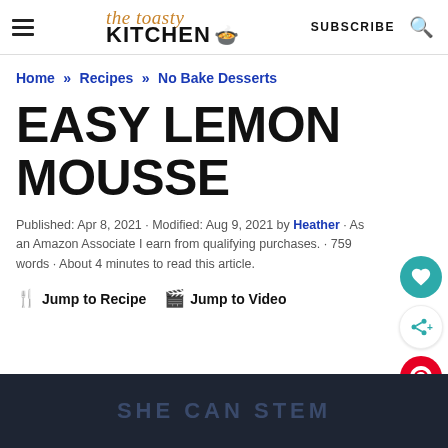The Toasty Kitchen — SUBSCRIBE
Home » Recipes » No Bake Desserts
EASY LEMON MOUSSE
Published: Apr 8, 2021 · Modified: Aug 9, 2021 by Heather · As an Amazon Associate I earn from qualifying purchases. · 759 words · About 4 minutes to read this article.
Jump to Recipe   Jump to Video
[Figure (screenshot): Dark banner at the bottom reading SHE CAN STEM]